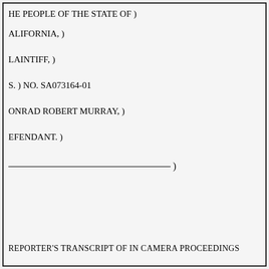HE PEOPLE OF THE STATE OF )
ALIFORNIA, )
LAINTIFF, )
S. ) NO. SA073164-01
ONRAD ROBERT MURRAY, )
EFENDANT. )
_________________________________)
REPORTER'S TRANSCRIPT OF IN CAMERA PROCEEDINGS